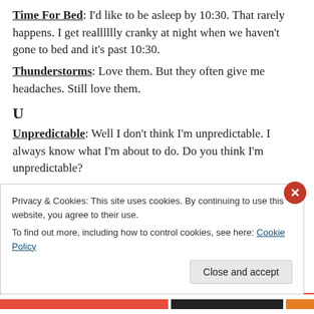Time For Bed: I'd like to be asleep by 10:30. That rarely happens. I get realllllly cranky at night when we haven't gone to bed and it's past 10:30.
Thunderstorms: Love them. But they often give me headaches. Still love them.
U
Unpredictable: Well I don't think I'm unpredictable. I always know what I'm about to do. Do you think I'm unpredictable?
V
Privacy & Cookies: This site uses cookies. By continuing to use this website, you agree to their use. To find out more, including how to control cookies, see here: Cookie Policy